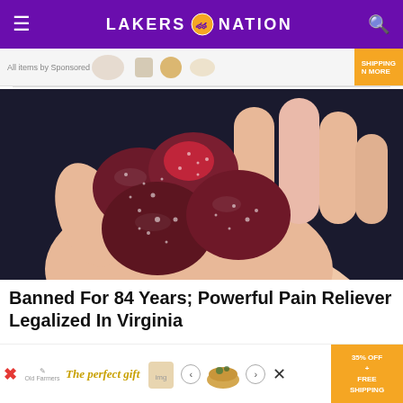LAKERS NATION
[Figure (screenshot): Advertisement strip with product images and shipping button]
[Figure (photo): Close-up photo of red sugary gummy candies held in a human hand against a dark background]
Banned For 84 Years; Powerful Pain Reliever Legalized In Virginia
[Figure (screenshot): Bottom advertisement banner reading 'The perfect gift' with product images, navigation arrows, and '35% OFF + FREE SHIPPING' offer]